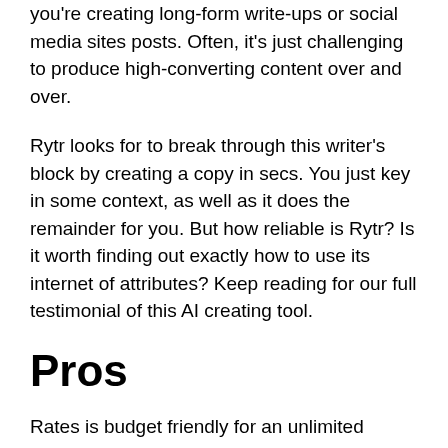you're creating long-form write-ups or social media sites posts. Often, it's just challenging to produce high-converting content over and over.
Rytr looks for to break through this writer's block by creating a copy in secs. You just key in some context, as well as it does the remainder for you. But how reliable is Rytr? Is it worth finding out exactly how to use its internet of attributes? Keep reading for our full testimonial of this AI creating tool.
Pros
Rates is budget friendly for an unlimited strategy
Makes use of the very same GPT-3